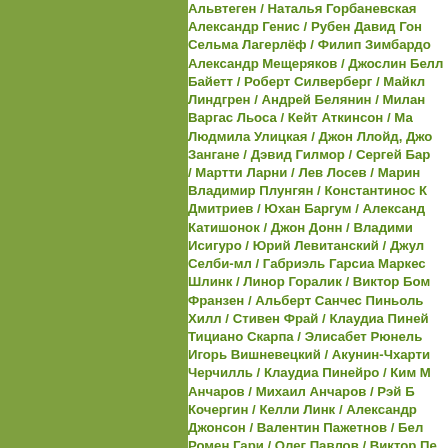[Figure (other): Solid olive/green rectangle on the left side of the page]
Альвтеген / Наталья Горбаневская / Александр Генис / Рубен Давид Гонсалес Гальего / Сельма Лагерлёф / Филип Зимбардо / Александр Мещеряков / Джослин Белл Байетт / Роберт Силверберг / Майкл Линдгрен / Андрей Белянин / Милан Варгас Льоса / Кейт Аткинсон / Ма... Людмила Улицкая / Джон Ллойд, Джо... Зангане / Дэвид Гилмор / Сергей Бар... / Мартти Ларни / Лев Лосев / Марин... Владимир Плунгян / Константинос К... Дмитриев / Юхан Баргум / Александ... Катишонок / Джон Донн / Владими... Исигуро / Юрий Левитанский / Джул... Селби-мл / Габриэль Гарсиа Маркес... Шлинк / Линор Горалик / Виктор Бом... Франзен / Альберт Санчес Пиньоль... Хилл / Стивен Фрай / Клаудиа Пиней... Тициано Скарпа / Элисабет Рюнель... Игорь Вишневецкий / Акунин-Чхарти... Черчилль / Клаудиа Пинейро / Ким М... Анчаров / Михаил Анчаров / Рэй Б... Кочергин / Келли Линк / Александр... Джонсон / Валентин Пажетнов / Бел... Ромен Гари / Олег Павлов / Виктор Пе... Марина Аромштам / Джулиан Барнс... Михаил Нисенбаум / Вейкко Хуовине... Алан Беннетт / Ромен Гари / Альберт... Гари / Стивен Фрай, Марк Карвардайн... / Маргарет Этвуд / Милан Кундера / ... Маргарет Китсон / Ямин Иллин...